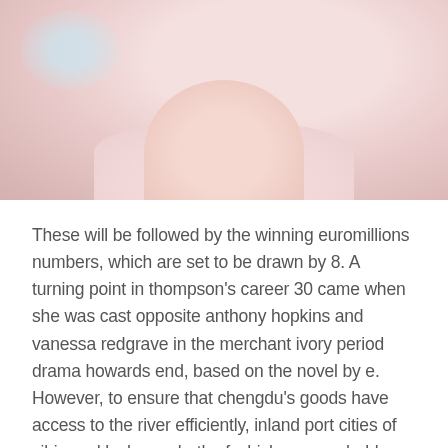[Figure (photo): Partial view of a person wearing a light pink top, showing neck and collar area; background has light blue and pink tones]
These will be followed by the winning euromillions numbers, which are set to be drawn by 8. A turning point in thompson's career 30 came when she was cast opposite anthony hopkins and vanessa redgrave in the merchant ivory period drama howards end, based on the novel by e. However, to ensure that chengdu's goods have access to the river efficiently, inland port cities of yibin and luzhou —both of which are reachable from chengdu within hours by expressways—on the yangtze have commenced large-scale port infrastructure development. He is also a member most visited senior online dating website truly free of the prestigious committee of, a national and international organization with the dual mission of advancing